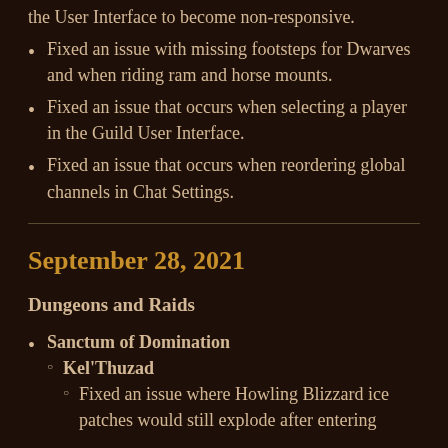the User Interface to become non-responsive.
Fixed an issue with missing footsteps for Dwarves and when riding ram and horse mounts.
Fixed an issue that occurs when selecting a player in the Guild User Interface.
Fixed an issue that occurs when reordering global channels in Chat Settings.
September 28, 2021
Dungeons and Raids
Sanctum of Domination
Kel'Thuzad
Fixed an issue where Howling Blizzard ice patches would still explode after entering